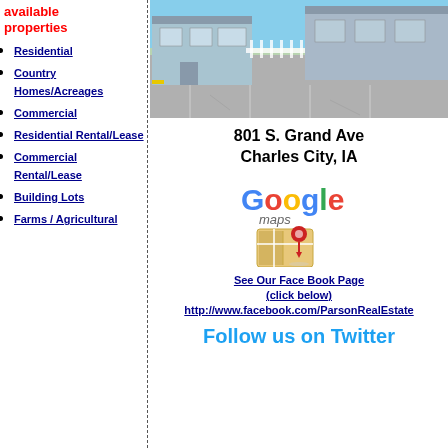available properties
Residential
Country Homes/Acreages
Commercial
Residential Rental/Lease
Commercial Rental/Lease
Building Lots
Farms / Agricultural
[Figure (photo): Exterior photo of a commercial building at 801 S. Grand Ave, Charles City, IA — a light blue/grey building with parking lot in foreground]
801 S. Grand Ave
Charles City, IA
[Figure (logo): Google Maps logo with map pin icon]
See Our Face Book Page
(click below)
http://www.facebook.com/ParsonRealEstate
Follow us on Twitter